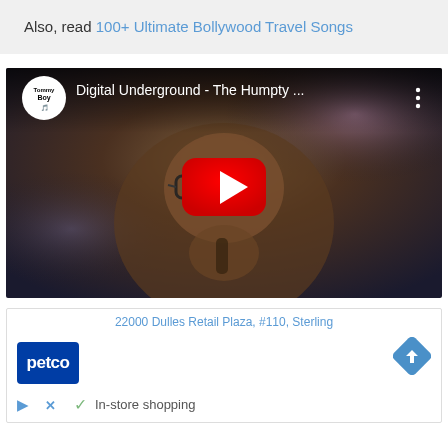Also, read 100+ Ultimate Bollywood Travel Songs
[Figure (screenshot): YouTube video thumbnail showing Digital Underground - The Humpty ... with a performer wearing glasses and holding a microphone, with red YouTube play button overlay. Channel logo is Tommy Boy Records.]
[Figure (screenshot): Advertisement box showing Petco logo and address 22000 Dulles Retail Plaza, #110, Sterling with navigation arrow icon and In-store shopping text with checkmark.]